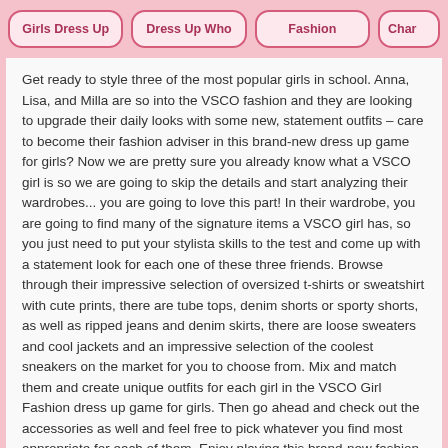Girls Dress Up | Dress Up Who | Fashion | Char...
Get ready to style three of the most popular girls in school. Anna, Lisa, and Milla are so into the VSCO fashion and they are looking to upgrade their daily looks with some new, statement outfits – care to become their fashion adviser in this brand-new dress up game for girls? Now we are pretty sure you already know what a VSCO girl is so we are going to skip the details and start analyzing their wardrobes... you are going to love this part! In their wardrobe, you are going to find many of the signature items a VSCO girl has, so you just need to put your stylista skills to the test and come up with a statement look for each one of these three friends. Browse through their impressive selection of oversized t-shirts or sweatshirt with cute prints, there are tube tops, denim shorts or sporty shorts, as well as ripped jeans and denim skirts, there are loose sweaters and cool jackets and an impressive selection of the coolest sneakers on the market for you to choose from. Mix and match them and create unique outfits for each girl in the VSCO Girl Fashion dress up game for girls. Then go ahead and check out the accessories as well and feel free to pick whatever you find most appropriate for each of them. Enjoy playing this brand-new fashion-themed dress up game for girls online at DressUpWho.com!